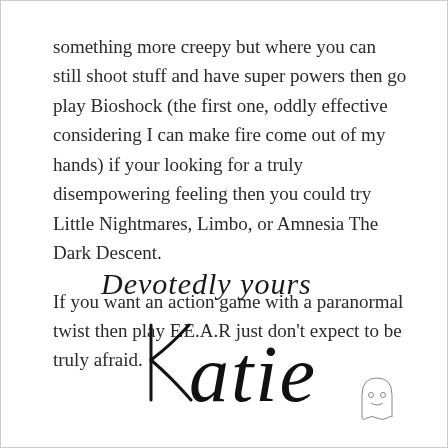something more creepy but where you can still shoot stuff and have super powers then go play Bioshock (the first one, oddly effective considering I can make fire come out of my hands) if your looking for a truly disempowering feeling then you could try Little Nightmares, Limbo, or Amnesia The Dark Descent.
If you want an action game with a paranormal twist then play F.E.A.R just don't expect to be truly afraid.
Devotedly yours
Katie